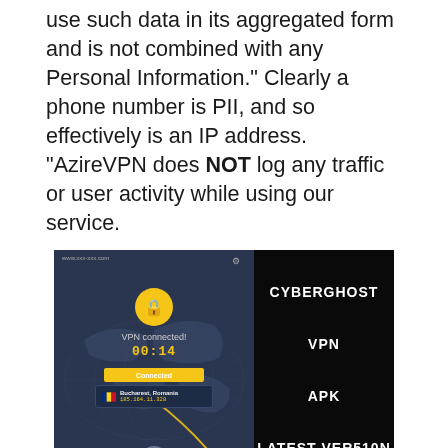use such data in its aggregated form and is not combined with any Personal Information.” Clearly a phone number is PII, and so effectively is an IP address. “AzireVPN does NOT log any traffic or user activity while using our service.
[Figure (screenshot): CyberGhost VPN APK Latest Version - screenshot showing VPN app interface on left (connected to Bucharest, Romania, IP 185.164.11.328, timer 00:14) and black panel on right with text CYBERGHOST VPN APK LATEST VERSION]
It doesn’t log your data and there’s a “kill switch” function for both desktop and mobile to keep you safe from exposure if the VPN’s connection drops. Read our guide to ISP internet throttling for more on seeing if you’re getting the speeds you’re paying